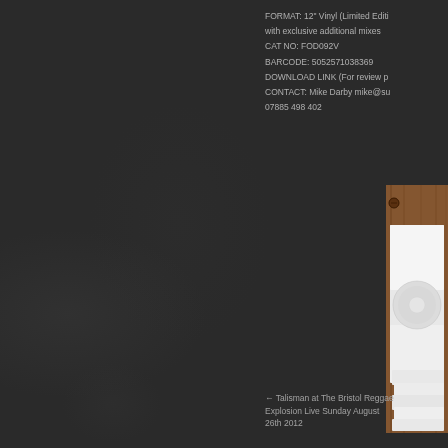FORMAT: 12" Vinyl (Limited Edition) with exclusive additional mixes CAT NO: FOD092V BARCODE: 5052571038369 DOWNLOAD LINK (For review p... CONTACT: Mike Darby mike@su... 07885 498 402
[Figure (photo): Photograph of white vinyl records stacked on a wooden surface, viewed from above, showing record sleeves and a vinyl disc]
← Talisman at The Bristol Reggae Explosion Live Sunday August 26th 2012